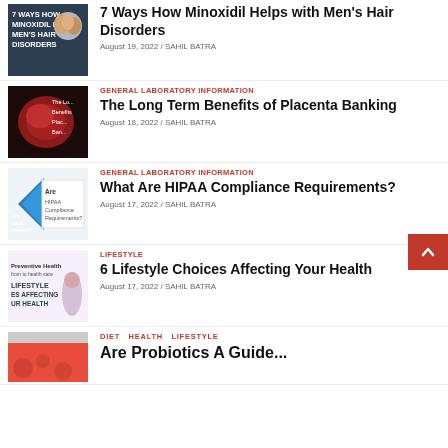[Figure (illustration): Thumbnail image with text: 7 Ways How Minoxidil Helps Men's Hair Disorders, showing people]
7 Ways How Minoxidil Helps with Men's Hair Disorders
August 19, 2022 / SAHIL BATRA
[Figure (photo): Thumbnail showing placenta or organ image with text: The Long Term Benefits of Placenta Banking]
GENERAL LABORATORY INFORMATION
The Long Term Benefits of Placenta Banking
August 18, 2022 / SAHIL BATRA
[Figure (illustration): Thumbnail showing HIPAA compliance document with blue arrow graphic]
GENERAL LABORATORY INFORMATION
What Are HIPAA Compliance Requirements?
August 17, 2022 / SAHIL BATRA
[Figure (photo): Thumbnail showing lifestyle health image with person exercising, text: Lifestyle Choices Affecting Your Health]
LIFESTYLE
6 Lifestyle Choices Affecting Your Health
August 17, 2022 / SAHIL BATRA
[Figure (illustration): Thumbnail showing orange background with health icons]
DIET  HEALTH  LIFESTYLE
Are Probiotics A Guide...